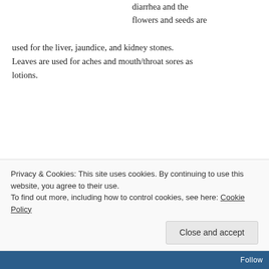diarrhea and the flowers and seeds are used for the liver, jaundice, and kidney stones. Leaves are used for aches and mouth/throat sores as lotions.
[Figure (photo): Photo of Eastern Redbud tree branch with pink blossoms against a blue sky]
— Eastern Redbud
Eastern Redbud Tree — Another pretty flower that is also edible raw or pickled
Privacy & Cookies: This site uses cookies. By continuing to use this website, you agree to their use. To find out more, including how to control cookies, see here: Cookie Policy
Follow